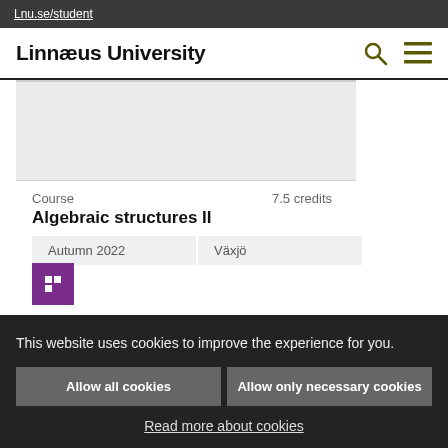Lnu.se/student
Linnæus University
[Figure (other): Grey placeholder image for course card]
Course   7.5 credits
Algebraic structures II
Autumn 2022   Växjö
This website uses cookies to improve the experience for you.
Allow all cookies
Allow only necessary cookies
Read more about cookies